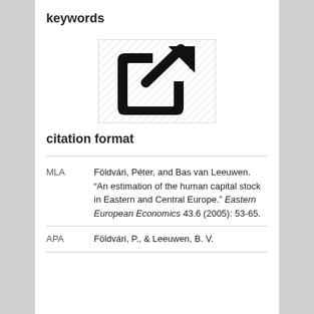keywords
[Figure (illustration): External link icon — a square with rounded corners and an arrow pointing top-right, black on white/hatched background]
citation format
| MLA | Földvári, Péter, and Bas van Leeuwen. “An estimation of the human capital stock in Eastern and Central Europe.” Eastern European Economics 43.6 (2005): 53-65. |
| APA | Földvári, P., & Leeuwen, B. V. |